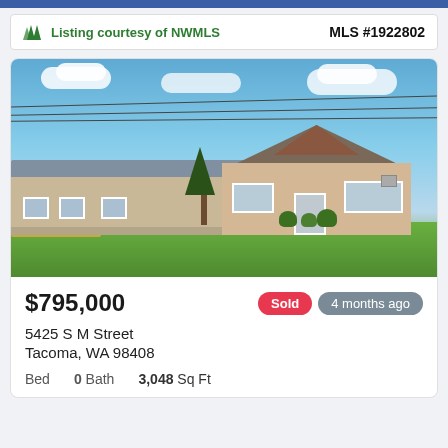[Figure (other): Top blue navigation bar]
Listing courtesy of NWMLS   MLS #1922802
[Figure (photo): Exterior photo of a single-story tan/beige residential building with dark gray roof, green lawn in front, blue sky with clouds, power lines visible]
$795,000
Sold   4 months ago
5425 S M Street
Tacoma, WA 98408
Bed   0 Bath   3,048 Sq Ft